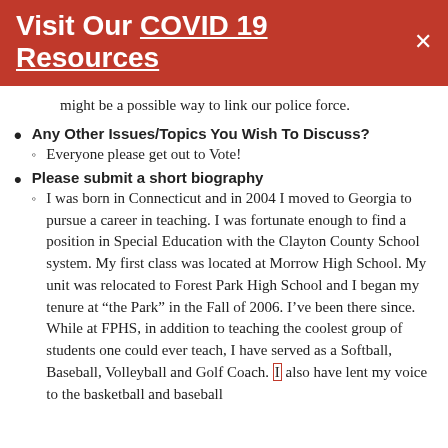Visit Our COVID 19 Resources
might be a possible way to link our police force.
Any Other Issues/Topics You Wish To Discuss?
Everyone please get out to Vote!
Please submit a short biography
I was born in Connecticut and in 2004 I moved to Georgia to pursue a career in teaching. I was fortunate enough to find a position in Special Education with the Clayton County School system. My first class was located at Morrow High School. My unit was relocated to Forest Park High School and I began my tenure at “the Park” in the Fall of 2006. I’ve been there since. While at FPHS, in addition to teaching the coolest group of students one could ever teach, I have served as a Softball, Baseball, Volleyball and Golf Coach. I also have lent my voice to the basketball and baseball